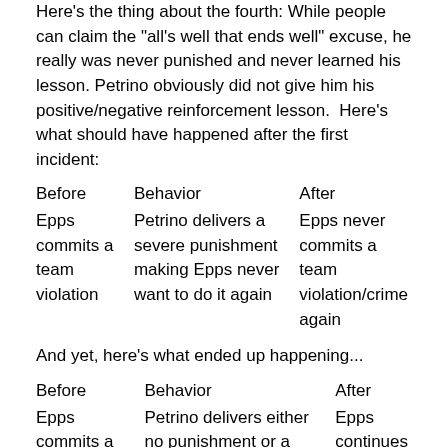Here's the thing about the fourth: While people can claim the "all's well that ends well" excuse, he really was never punished and never learned his lesson. Petrino obviously did not give him his positive/negative reinforcement lesson. Here's what should have happened after the first incident:
| Before | Behavior | After |
| --- | --- | --- |
| Epps commits a team violation | Petrino delivers a severe punishment making Epps never want to do it again | Epps never commits a team violation/crime again |
And yet, here's what ended up happening...
| Before | Behavior | After |
| --- | --- | --- |
| Epps commits a team | Petrino delivers either no punishment or a | Epps continues to violate rules with little care to a point where the crime is |